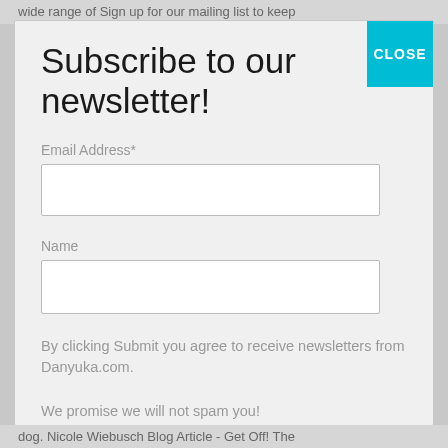wide range of Sign up for our mailing list to keep
Subscribe to our newsletter!
Email Address*
Name
By clicking Submit you agree to receive newsletters from Danyuka.com.

We promise we will not spam you!
Subscribe
dog. Nicole Wiebusch Blog Article - Get Off! The